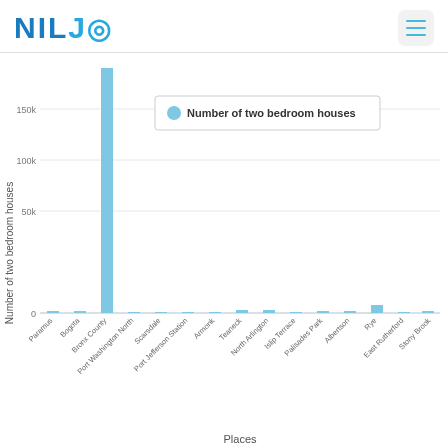NILJO [logo with hamburger menu]
[Figure (bar-chart): Number of two bedroom houses]